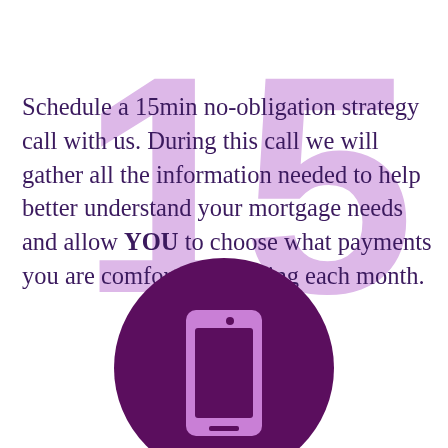Schedule a 15min no-obligation strategy call with us. During this call we will gather all the information needed to help better understand your mortgage needs and allow YOU to choose what payments you are comfortable making each month.
[Figure (illustration): Large light purple watermark number '15' in the background, with a dark purple circle containing a purple smartphone icon in the lower center of the page.]